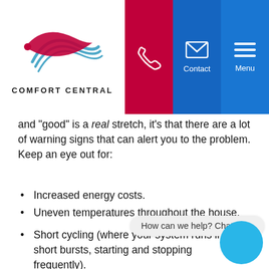[Figure (logo): Comfort Central logo with swoosh/arrow graphic in red and teal/blue, text COMFORT CENTRAL below]
and "good" is a real stretch, it's that there are a lot of warning signs that can alert you to the problem. Keep an eye out for:
Increased energy costs.
Uneven temperatures throughout the house.
Short cycling (where your system runs in short bursts, starting and stopping frequently).
Hissing sounds coming from the refrigerant lines.
If you notice any of these problems, remember that professional repairs are the only solution for a refrigerant leak. This is not a job that is DIY-